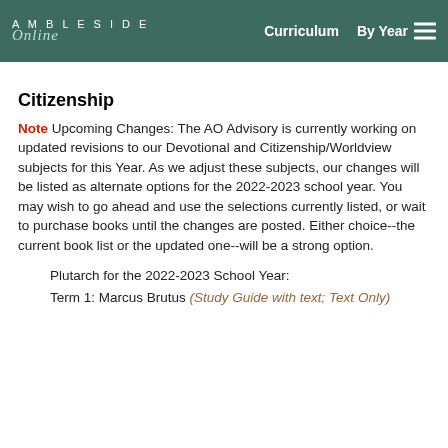AMBLESIDE Online  Curriculum  By Year
Citizenship
Note Upcoming Changes: The AO Advisory is currently working on updated revisions to our Devotional and Citizenship/Worldview subjects for this Year. As we adjust these subjects, our changes will be listed as alternate options for the 2022-2023 school year. You may wish to go ahead and use the selections currently listed, or wait to purchase books until the changes are posted. Either choice--the current book list or the updated one--will be a strong option.
Plutarch for the 2022-2023 School Year:
Term 1: Marcus Brutus (Study Guide with text; Text Only)